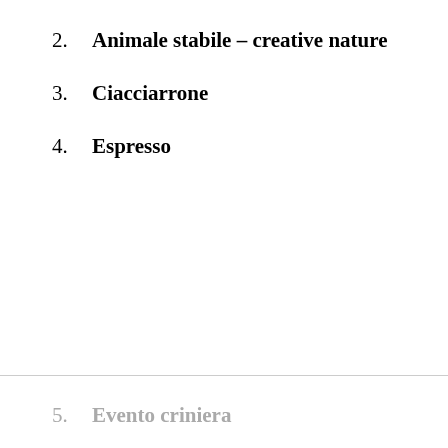2. Animale stabile – creative nature
3. Ciacciarrone
4. Espresso
5. Evento criniera